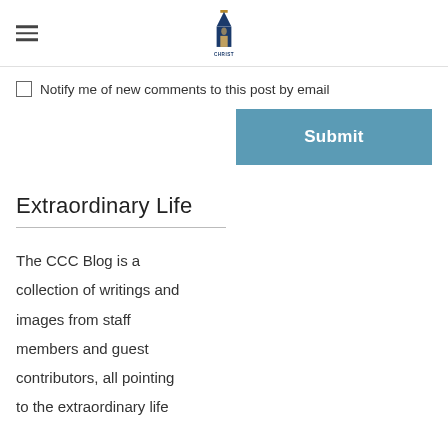CHRIST [logo]
Notify me of new comments to this post by email
[Figure (other): Submit button — steel blue rectangular button with white bold text 'Submit']
Extraordinary Life
The CCC Blog is a collection of writings and images from staff members and guest contributors, all pointing to the extraordinary life